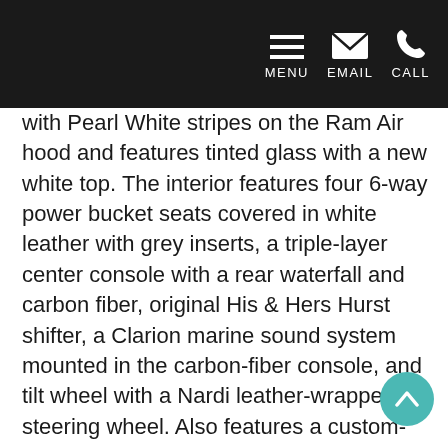MENU EMAIL CALL
with Pearl White stripes on the Ram Air hood and features tinted glass with a new white top. The interior features four 6-way power bucket seats covered in white leather with grey inserts, a triple-layer center console with a rear waterfall and carbon fiber, original His & Hers Hurst shifter, a Clarion marine sound system mounted in the carbon-fiber console, and tilt wheel with a Nardi leather-wrapped steering wheel. Also features a custom-designed dash with carbon-fiber inserts, dash cluster, power windows and a cell phone charger. A new high-tech touchscreen ISIS system was installed that operates 90% of this Oldsmobile's electronics by computer with no need for a fuse box. The trunk features a carbon-fiber insert with 442 emblem and stainless steel spears. It rides on